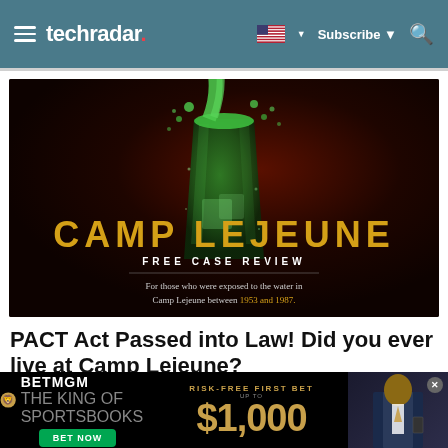techradar
[Figure (photo): Camp Lejeune advertisement showing a green drink being poured into a glass against a dark red background. Large yellow text reads 'CAMP LEJEUNE' with subtitle 'FREE CASE REVIEW'. Text below reads 'For those who were exposed to the water in Camp Lejeune between 1953 and 1987.']
PACT Act Passed into Law! Did you ever live at Camp Lejeune?
[Figure (photo): BetMGM advertisement banner showing logo, 'RISK-FREE FIRST BET UP TO $1,000' text in gold on black background, and a man in a suit on the right side. Includes a green 'BET NOW' button.]